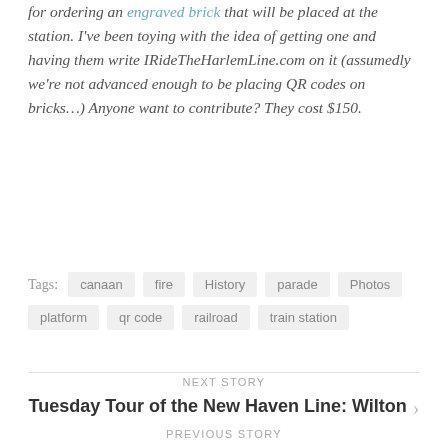for ordering an engraved brick that will be placed at the station. I've been toying with the idea of getting one and having them write IRideTheHarlemLine.com on it (assumedly we're not advanced enough to be placing QR codes on bricks…) Anyone want to contribute? They cost $150.
Tags: canaan  fire  History  parade  Photos  platform  qr code  railroad  train station
NEXT STORY
Tuesday Tour of the New Haven Line: Wilton
PREVIOUS STORY